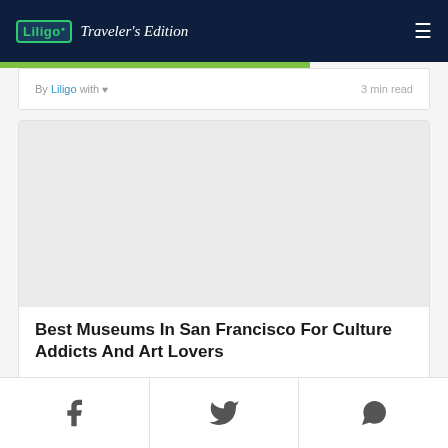Liligo Traveler's Edition
By Liligo with ♥   3 min read
[Figure (photo): Placeholder image area for article about San Francisco museums]
Best Museums In San Francisco For Culture Addicts And Art Lovers